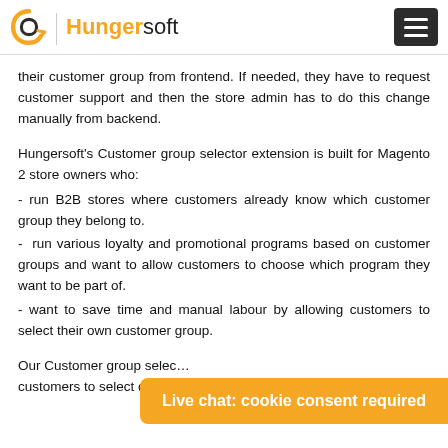Hungersoft
their customer group from frontend. If needed, they have to request customer support and then the store admin has to do this change manually from backend.
Hungersoft's Customer group selector extension is built for Magento 2 store owners who:
- run B2B stores where customers already know which customer group they belong to.
- run various loyalty and promotional programs based on customer groups and want to allow customers to choose which program they want to be part of.
- want to save time and manual labour by allowing customers to select their own customer group.
Our Customer group selec… customers to select desire…
Live chat: cookie consent required